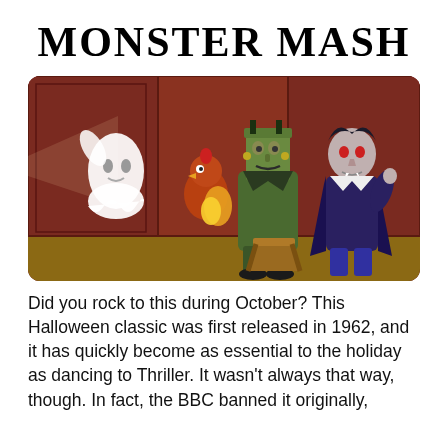MONSTER MASH
[Figure (illustration): Cartoon illustration showing classic Halloween monsters: a white ghost on the left, a bird/chicken character in the middle-left, Frankenstein's monster in the center, and a vampire on the right, all gathered around what appears to be a campfire or stool, set against a dark red interior background.]
Did you rock to this during October? This Halloween classic was first released in 1962, and it has quickly become as essential to the holiday as dancing to Thriller. It wasn't always that way, though. In fact, the BBC banned it originally,